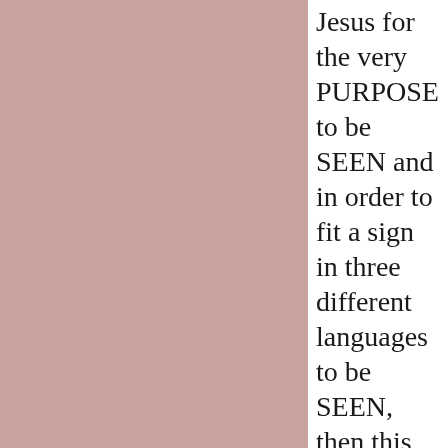Jesus for the very PURPOSE to be SEEN and in order to fit a sign in three different languages to be SEEN, then this sign could NOT have been just a